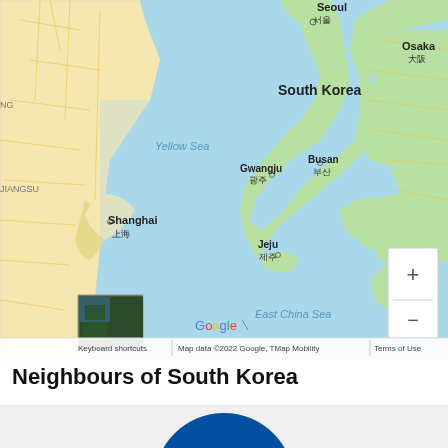[Figure (map): Google Maps view showing South Korea, Yellow Sea, East China Sea, Shanghai, Gwangju, Busan, Jeju, Seoul, Osaka. Map data ©2022 Google, TMap Mobility.]
Neighbours of South Korea
[Figure (illustration): North Korea flag circle partially visible at bottom of page]